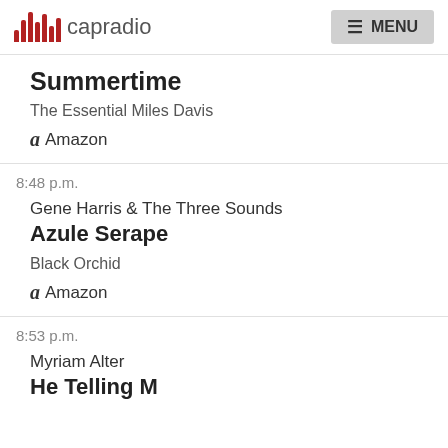capradio  MENU
Summertime
The Essential Miles Davis
Amazon
8:48 p.m.
Gene Harris & The Three Sounds
Azule Serape
Black Orchid
Amazon
8:53 p.m.
Myriam Alter